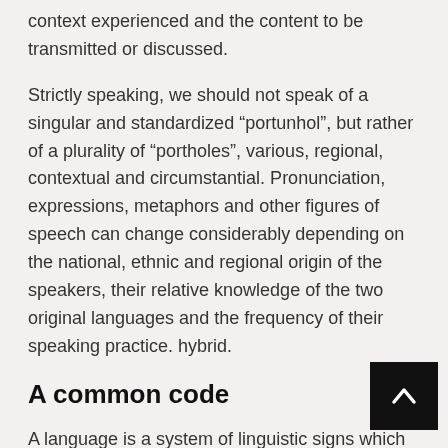context experienced and the content to be transmitted or discussed.
Strictly speaking, we should not speak of a singular and standardized “portunhol”, but rather of a plurality of “portholes”, various, regional, contextual and circumstantial. Pronunciation, expressions, metaphors and other figures of speech can change considerably depending on the national, ethnic and regional origin of the speakers, their relative knowledge of the two original languages and the frequency of their speaking practice. hybrid.
A common code
A language is a system of linguistic signs which makes possible to represent reality and to codify – or decode –